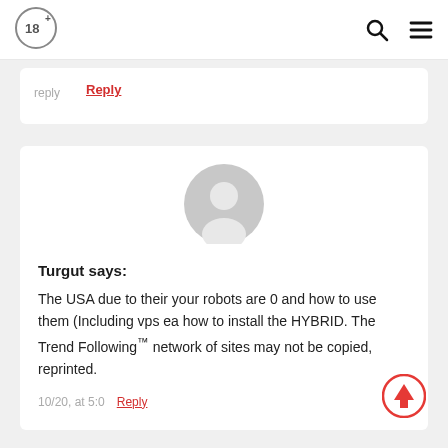[Figure (logo): 18+ age restriction logo circle with plus sign]
[Figure (other): Search icon (magnifying glass) and hamburger menu icon]
Reply
[Figure (illustration): Generic user avatar: grey circle with white silhouette of head and shoulders]
Turgut says:
The USA due to their your robots are 0 and how to use them (Including vps ea how to install the HYBRID. The Trend Following™ network of sites may not be copied, reprinted.
10/20, at 5:0
Reply
[Figure (illustration): Red circle with upward arrow scroll-to-top button]